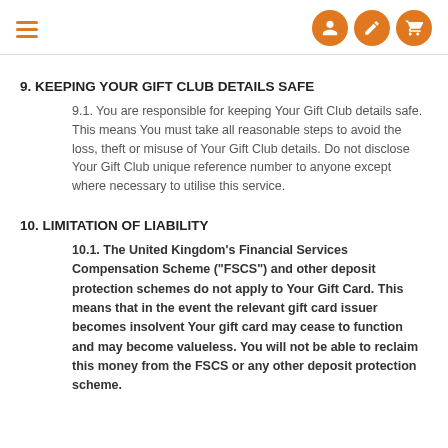Navigation header with hamburger menu and icons
9. KEEPING YOUR GIFT CLUB DETAILS SAFE
9.1. You are responsible for keeping Your Gift Club details safe. This means You must take all reasonable steps to avoid the loss, theft or misuse of Your Gift Club details. Do not disclose Your Gift Club unique reference number to anyone except where necessary to utilise this service.
10. LIMITATION OF LIABILITY
10.1. The United Kingdom’s Financial Services Compensation Scheme (“FSCS”) and other deposit protection schemes do not apply to Your Gift Card. This means that in the event the relevant gift card issuer becomes insolvent Your gift card may cease to function and may become valueless. You will not be able to reclaim this money from the FSCS or any other deposit protection scheme.